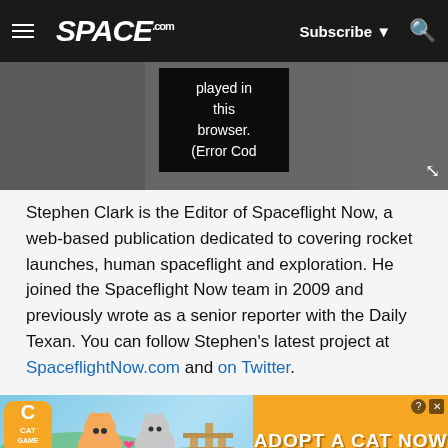SPACE.com — Subscribe, Search
[Figure (screenshot): Video player with error message overlay reading 'played in this browser. (Error Cod']
Stephen Clark is the Editor of Spaceflight Now, a web-based publication dedicated to covering rocket launches, human spaceflight and exploration. He joined the Spaceflight Now team in 2009 and previously wrote as a senior reporter with the Daily Texan. You can follow Stephen's latest project at SpaceflightNow.com and on Twitter.
[Figure (illustration): Advertisement banner: Cat game ad with cartoon cats and 'ADOPT A CAT NOW' text on orange background]